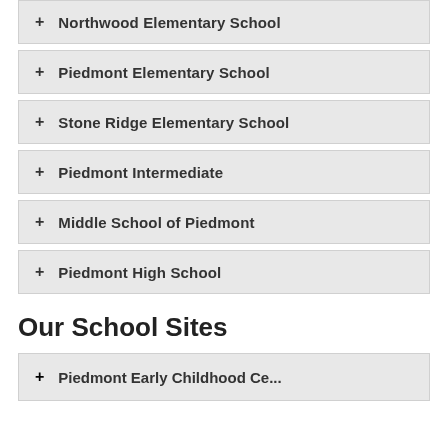+ Northwood Elementary School
+ Piedmont Elementary School
+ Stone Ridge Elementary School
+ Piedmont Intermediate
+ Middle School of Piedmont
+ Piedmont High School
Our School Sites
+ Piedmont Early Childhood Center